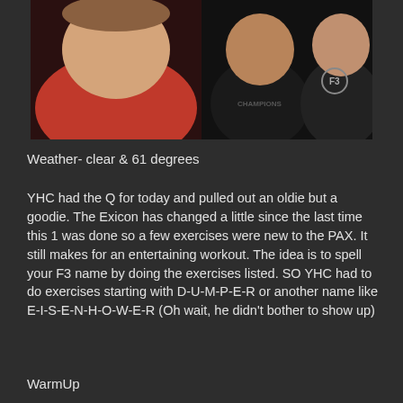[Figure (photo): Group photo of three men posing together. One man on the left in a red shirt, two men on the right in dark/black shirts, one wearing an F3 logo shirt and another wearing a 'Champions' shirt.]
Weather- clear & 61 degrees
YHC had the Q for today and pulled out an oldie but a goodie. The Exicon has changed a little since the last time this 1 was done so a few exercises were new to the PAX.  It still makes for an entertaining workout. The idea is to spell your F3 name by doing the exercises listed. SO YHC had to do exercises starting with D-U-M-P-E-R or another name like E-I-S-E-N-H-O-W-E-R (Oh wait, he didn't bother to show up)
WarmUp